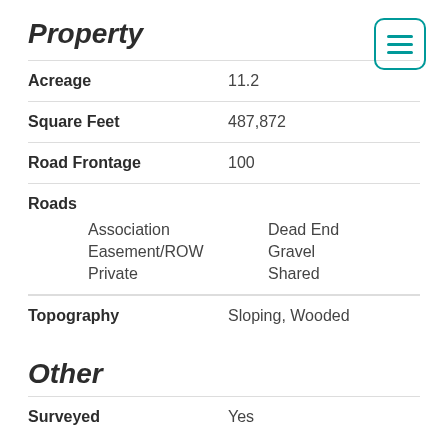Property
| Field | Value |
| --- | --- |
| Acreage | 11.2 |
| Square Feet | 487,872 |
| Road Frontage | 100 |
| Roads | Association: Dead End, Easement/ROW: Gravel, Private: Shared |
| Topography | Sloping, Wooded |
Other
| Field | Value |
| --- | --- |
| Surveyed | Yes |